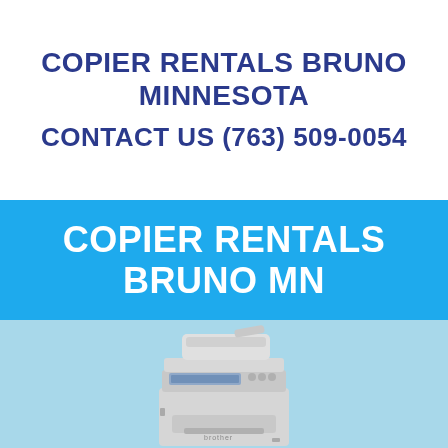COPIER RENTALS BRUNO MINNESOTA
CONTACT US (763) 509-0054
COPIER RENTALS BRUNO MN
[Figure (photo): Photo of a Brother multifunction laser printer/copier on a light blue background]